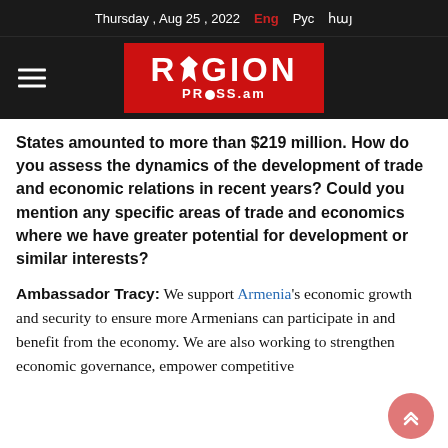Thursday , Aug 25 , 2022   Eng   Рус   հայ
[Figure (logo): Region Press .am logo — white text on red background with map icon replacing the 'E' in REGION]
States amounted to more than $219 million. How do you assess the dynamics of the development of trade and economic relations in recent years? Could you mention any specific areas of trade and economics where we have greater potential for development or similar interests?
Ambassador Tracy: We support Armenia's economic growth and security to ensure more Armenians can participate in and benefit from the economy. We are also working to strengthen economic governance, empower competitive